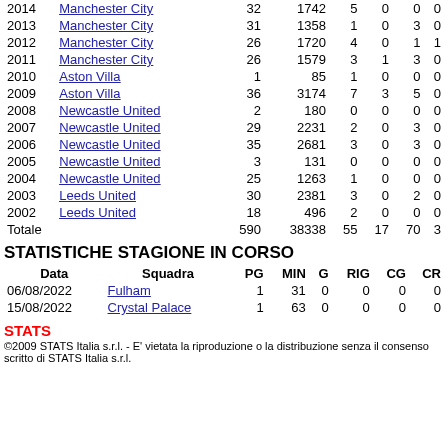| Year | Club | PG | MIN | G | RIG | CG | CR |
| --- | --- | --- | --- | --- | --- | --- | --- |
| 2014 | Manchester City | 32 | 1742 | 5 | 0 | 0 | 0 |
| 2013 | Manchester City | 31 | 1358 | 1 | 0 | 3 | 0 |
| 2012 | Manchester City | 26 | 1720 | 4 | 0 | 1 | 1 |
| 2011 | Manchester City | 26 | 1579 | 3 | 1 | 3 | 0 |
| 2010 | Aston Villa | 1 | 85 | 1 | 0 | 0 | 0 |
| 2009 | Aston Villa | 36 | 3174 | 7 | 3 | 5 | 0 |
| 2008 | Newcastle United | 2 | 180 | 0 | 0 | 0 | 0 |
| 2007 | Newcastle United | 29 | 2231 | 2 | 0 | 3 | 0 |
| 2006 | Newcastle United | 35 | 2681 | 3 | 0 | 3 | 0 |
| 2005 | Newcastle United | 3 | 131 | 0 | 0 | 0 | 0 |
| 2004 | Newcastle United | 25 | 1263 | 1 | 0 | 0 | 0 |
| 2003 | Leeds United | 30 | 2381 | 3 | 0 | 2 | 0 |
| 2002 | Leeds United | 18 | 496 | 2 | 0 | 0 | 0 |
| Totale |  | 590 | 38338 | 55 | 17 | 70 | 3 |
STATISTICHE STAGIONE IN CORSO
| Data | Squadra | PG | MIN | G | RIG | CG | CR |
| --- | --- | --- | --- | --- | --- | --- | --- |
| 06/08/2022 | Fulham | 1 | 31 | 0 | 0 | 0 | 0 |
| 15/08/2022 | Crystal Palace | 1 | 63 | 0 | 0 | 0 | 0 |
STATS
©2009 STATS Italia s.r.l. - E' vietata la riproduzione o la distribuzione senza il consenso scritto di STATS Italia s.r.l.